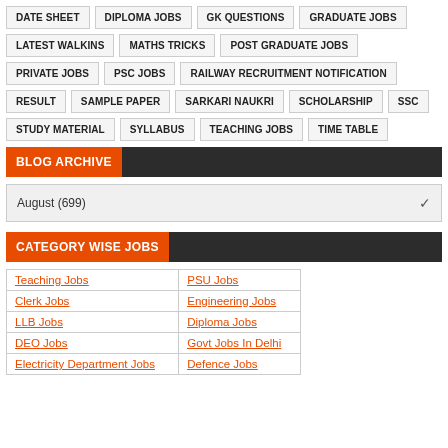DATE SHEET
DIPLOMA JOBS
GK QUESTIONS
GRADUATE JOBS
LATEST WALKINS
MATHS TRICKS
POST GRADUATE JOBS
PRIVATE JOBS
PSC JOBS
RAILWAY RECRUITMENT NOTIFICATION
RESULT
SAMPLE PAPER
SARKARI NAUKRI
SCHOLARSHIP
SSC
STUDY MATERIAL
SYLLABUS
TEACHING JOBS
TIME TABLE
BLOG ARCHIVE
August (699)
CATEGORY WISE JOBS
| Teaching Jobs | PSU Jobs |
| Clerk Jobs | Engineering Jobs |
| LLB Jobs | Diploma Jobs |
| DEO Jobs | Govt Jobs In Delhi |
| Electricity Department Jobs | Defence Jobs |